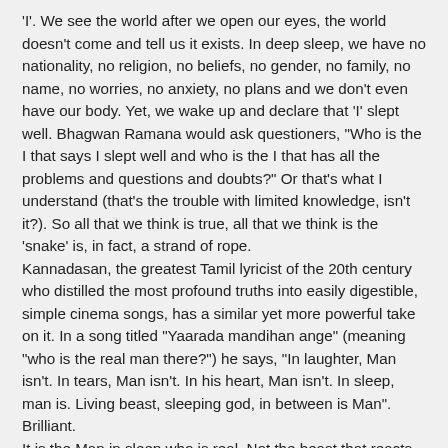'I'. We see the world after we open our eyes, the world doesn't come and tell us it exists. In deep sleep, we have no nationality, no religion, no beliefs, no gender, no family, no name, no worries, no anxiety, no plans and we don't even have our body. Yet, we wake up and declare that 'I' slept well. Bhagwan Ramana would ask questioners, "Who is the I that says I slept well and who is the I that has all the problems and questions and doubts?" Or that's what I understand (that's the trouble with limited knowledge, isn't it?). So all that we think is true, all that we think is the 'snake' is, in fact, a strand of rope.
Kannadasan, the greatest Tamil lyricist of the 20th century who distilled the most profound truths into easily digestible, simple cinema songs, has a similar yet more powerful take on it. In a song titled "Yaarada mandihan ange" (meaning "who is the real man there?") he says, "In laughter, Man isn't. In tears, Man isn't. In his heart, Man isn't. In sleep, man is. Living beast, sleeping god, in between is Man". Brilliant.
It is the Man in sleep who is real. Not the beast that reacts and repents. Not the Man in between two stages who is confused